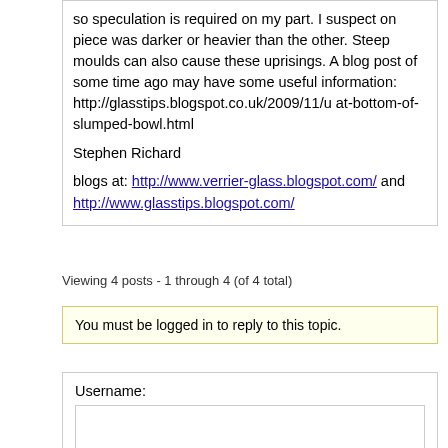so speculation is required on my part. I suspect on piece was darker or heavier than the other. Steep moulds can also cause these uprisings. A blog post of some time ago may have some useful information: http://glasstips.blogspot.co.uk/2009/11/u at-bottom-of-slumped-bowl.html

Stephen Richard

blogs at: http://www.verrier-glass.blogspot.com/ and http://www.glasstips.blogspot.com/
Viewing 4 posts - 1 through 4 (of 4 total)
You must be logged in to reply to this topic.
Username: